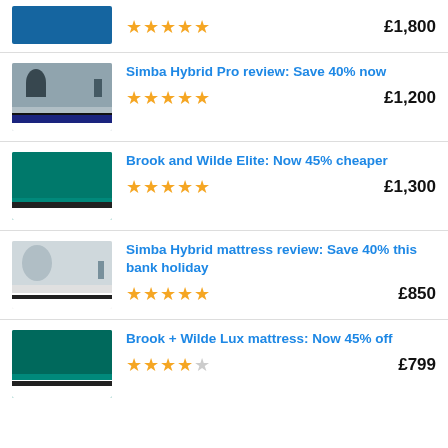[Figure (photo): Top partial product row showing a dark blue mattress image and price £1,800]
£1,800
[Figure (photo): Simba Hybrid Pro mattress on grey platform bed]
Simba Hybrid Pro review: Save 40% now
★★★★★ £1,200
[Figure (photo): Brook and Wilde Elite mattress on teal background]
Brook and Wilde Elite: Now 45% cheaper
★★★★★ £1,300
[Figure (photo): Simba Hybrid mattress with round headboard]
Simba Hybrid mattress review: Save 40% this bank holiday
★★★★★ £850
[Figure (photo): Brook + Wilde Lux mattress teal background]
Brook + Wilde Lux mattress: Now 45% off
★★★★☆ £799